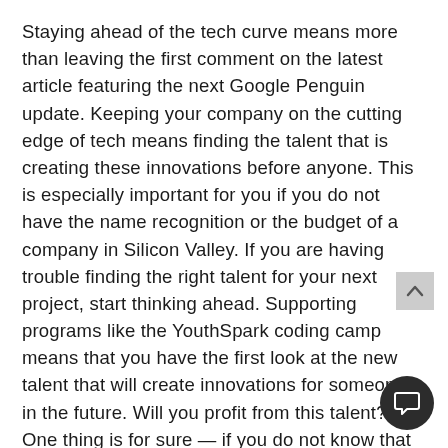Staying ahead of the tech curve means more than leaving the first comment on the latest article featuring the next Google Penguin update. Keeping your company on the cutting edge of tech means finding the talent that is creating these innovations before anyone. This is especially important for you if you do not have the name recognition or the budget of a company in Silicon Valley. If you are having trouble finding the right talent for your next project, start thinking ahead. Supporting programs like the YouthSpark coding camp means that you have the first look at the new talent that will create innovations for someone in the future. Will you profit from this talent? One thing is for sure — if you do not know that these people even exist, then you definitely will not.